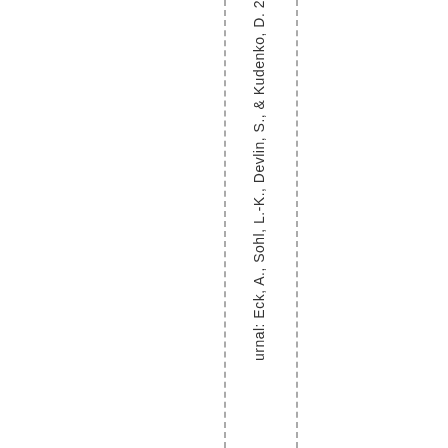urnal: Eck, A., Sohl, L.-K., Devlin, S., & Kudenko, D. 2